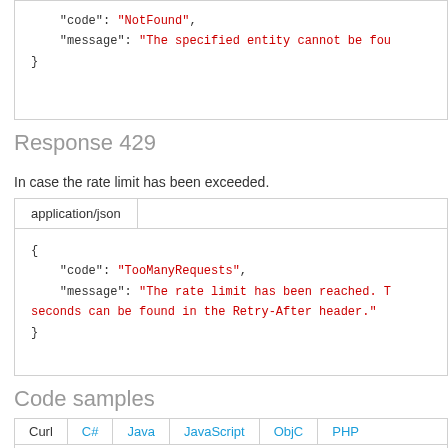[Figure (screenshot): Code box showing truncated JSON with 'code': 'NotFound' and 'message': 'The specified entity cannot be fou...' and closing brace]
Response 429
In case the rate limit has been exceeded.
[Figure (screenshot): Code box with application/json tab showing JSON: { "code": "TooManyRequests", "message": "The rate limit has been reached. T seconds can be found in the Retry-After header." }]
Code samples
[Figure (screenshot): Tab bar showing Curl (active), C#, Java, JavaScript, ObjC, PHP tabs, and Ruby tab on next row]